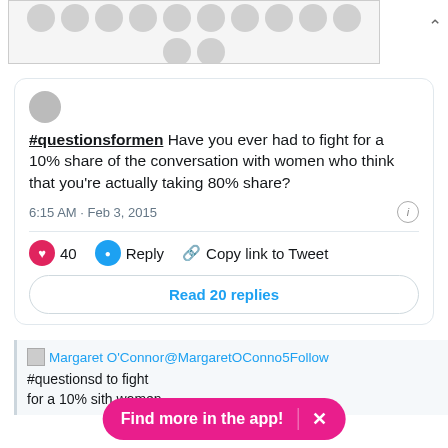[Figure (other): Advertisement banner with gray polka dot pattern background]
[Figure (other): Small circular avatar placeholder]
#questionsformen Have you ever had to fight for a 10% share of the conversation with women who think that you're actually taking 80% share?
6:15 AM · Feb 3, 2015
♥ 40  Reply  Copy link to Tweet
Read 20 replies
Margaret O'Connor@MargaretOConno5Follow
#questions... d to fight for a 10% s... ith women
Find more in the app!  ×